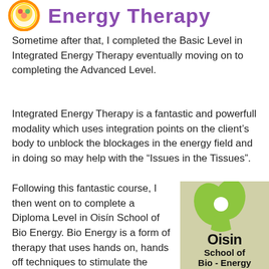[Figure (logo): Circular logo with colorful face/character for Integrated Energy Therapy, with purple text 'Energy Therapy' to the right]
Sometime after that, I completed the Basic Level in Integrated Energy Therapy eventually moving on to completing the Advanced Level.
Integrated Energy Therapy is a fantastic and powerfull modality which uses integration points on the client's body to unblock the blockages in the energy field and in doing so may help with the “Issues in the Tissues”.
Following this fantastic course, I then went on to complete a Diploma Level in Oisín School of Bio Energy. Bio Energy is a form of therapy that uses hands on, hands off techniques to stimulate the body’s energy system
[Figure (logo): Oisin School of Bio-Energy logo: green heart/figure shape on beige background with bold text 'Oisin School of Bio - Energy']